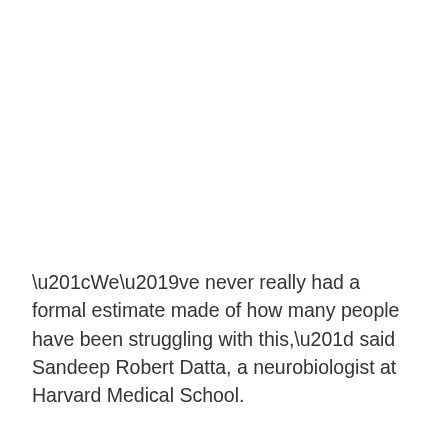“We’ve never really had a formal estimate made of how many people have been struggling with this,” said Sandeep Robert Datta, a neurobiologist at Harvard Medical School.